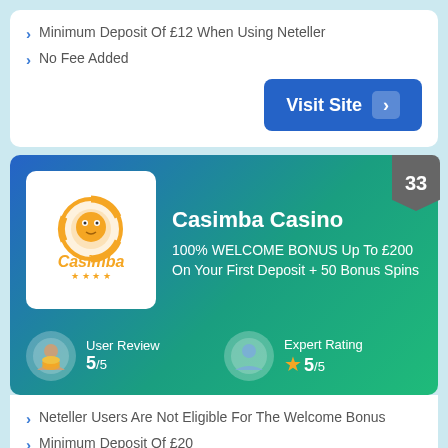Minimum Deposit Of £12 When Using Neteller
No Fee Added
Visit Site
[Figure (logo): Casimba Casino logo with orange casino chip and 'Casimba' text with four stars]
Casimba Casino
100% WELCOME BONUS Up To £200 On Your First Deposit + 50 Bonus Spins
User Review 5/5
Expert Rating 5/5
Neteller Users Are Not Eligible For The Welcome Bonus
Minimum Deposit Of £20
18+. New players only. Min. deposit £20. Max. bonus bet is £5. Bonus spins on selected games only and must be used within 72 hours. Winnings from Bonus spins credited as bonus funds and